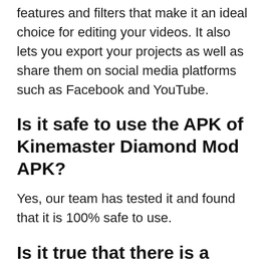features and filters that make it an ideal choice for editing your videos. It also lets you export your projects as well as share them on social media platforms such as Facebook and YouTube.
Is it safe to use the APK of Kinemaster Diamond Mod APK?
Yes, our team has tested it and found that it is 100% safe to use.
Is it true that there is a